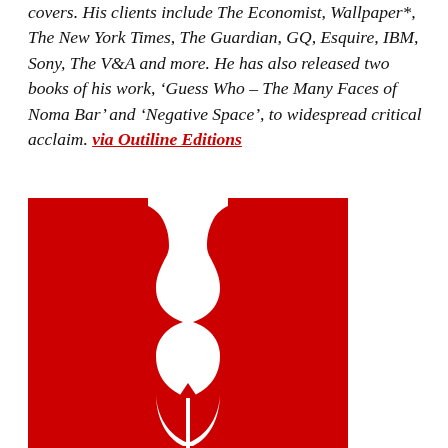covers. His clients include The Economist, Wallpaper*, The New York Times, The Guardian, GQ, Esquire, IBM, Sony, The V&A and more. He has also released two books of his work, 'Guess Who – The Many Faces of Noma Bar' and 'Negative Space', to widespread critical acclaim. via Outiline Editions
[Figure (illustration): Red square illustration by Noma Bar showing a white negative-space figure — a woman's silhouette formed by the shape of a pen nib/fountain pen, on a red background. The white shape suggests both a vase/bottle form and a feminine body, with a red triangular pen nib at the center.]